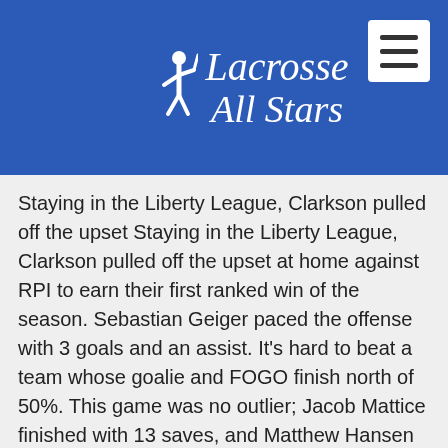[Figure (logo): Lacrosse All Stars logo with player silhouette in white on blue background header, plus hamburger menu icon in white box at top right]
Staying in the Liberty League, Clarkson pulled off the upset at home against RPI to earn their first ranked win of the season. Sebastian Geiger paced the offense with 3 goals and an assist. It's hard to beat a team whose goalie and FOGO finish north of 50%. This game was no outlier; Jacob Mattice finished with 13 saves, and Matthew Hansen (14-23, 61%) earned the Golden Knights plenty of extra possessions.
The Liberty League has been a gauntlet; RPI beat RIT, RIT beat Union, and now Union hosts RPI in a pivotal top-20 matchup this weekend. Clarkson awaits their biggest test yet – they'll travel to RIT on Saturday.